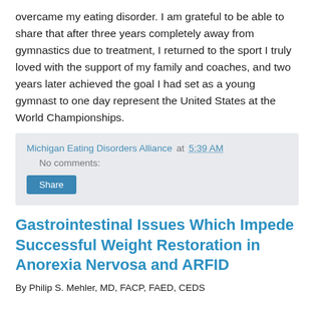overcame my eating disorder. I am grateful to be able to share that after three years completely away from gymnastics due to treatment, I returned to the sport I truly loved with the support of my family and coaches, and two years later achieved the goal I had set as a young gymnast to one day represent the United States at the World Championships.
Michigan Eating Disorders Alliance at 5:39 AM   No comments:
Gastrointestinal Issues Which Impede Successful Weight Restoration in Anorexia Nervosa and ARFID
By Philip S. Mehler, MD, FACP, FAED, CEDS
...